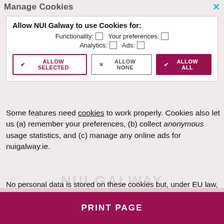Manage Cookies
| Allow NUI Galway to use Cookies for: |
| Functionality: ☐   Your preferences: ☐ |
| Analytics: ☐   Ads: ☐ |
| ✔ ALLOW SELECTED | ✕ ALLOW NONE | ✔ ALLOW ALL |
Some features need cookies to work properly. Cookies also let us (a) remember your preferences, (b) collect anonymous usage statistics, and (c) manage any online ads for nuigalway.ie.
No personal data is stored on these cookies but, under EU law, we still need to ask you this every 6 months. To learn more about our use of cookies, view our Privacy Policy.
PRINT PAGE